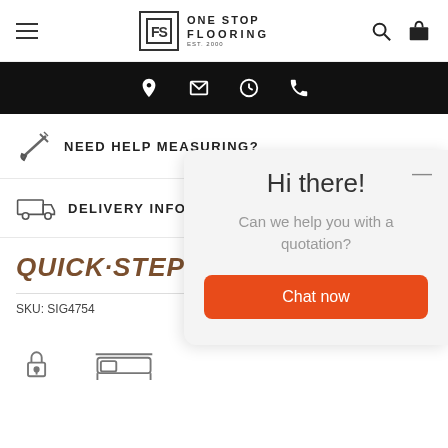One Stop Flooring — Navigation header with logo, search, and cart icons
[Figure (screenshot): Black navigation bar with location pin, email, clock, and phone icons in white]
NEED HELP MEASURING?
DELIVERY INFORMATION
[Figure (logo): Quick Step brand logo in italic brown text]
SKU: SIG4754
[Figure (illustration): Chat popup overlay: Hi there! Can we help you with a quotation? Chat now button]
[Figure (illustration): Bottom icons row: lock/installer icon and bed/furniture icon]